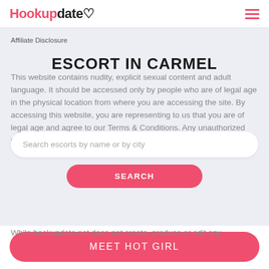Hookupdate ♡  ☰
Affiliate Disclosure
ESCORT IN CARMEL
This website contains nudity, explicit sexual content and adult language. It should be accessed only by people who are of legal age in the physical location from where you are accessing the site. By accessing this website, you are representing to us that you are of legal age and agree to our Terms & Conditions. Any unauthorized use of this site may violate state, federal and/or foreign law.
Search escorts by name or by city
SEARCH
While hookupdate.net does not create, produce or edit any
MEET HOT GIRL